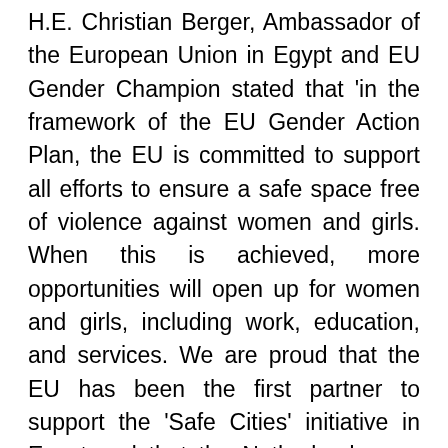H.E. Christian Berger, Ambassador of the European Union in Egypt and EU Gender Champion stated that 'in the framework of the EU Gender Action Plan, the EU is committed to support all efforts to ensure a safe space free of violence against women and girls. When this is achieved, more opportunities will open up for women and girls, including work, education, and services. We are proud that the EU has been the first partner to support the 'Safe Cities' initiative in Egypt and that the Netherlands now supports it in Damietta. This is the true spirit of 'Team Europe' where the EU and its Member States join and complement efforts. Indeed, the efforts made by the Government of Egypt and our local partners in